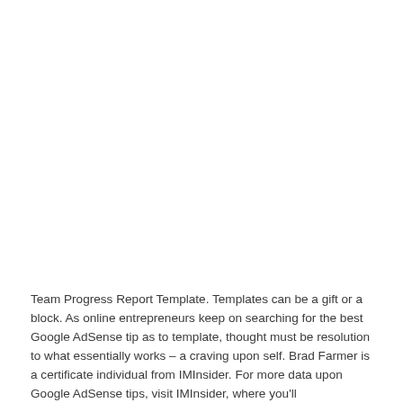Team Progress Report Template. Templates can be a gift or a block. As online entrepreneurs keep on searching for the best Google AdSense tip as to template, thought must be resolution to what essentially works – a craving upon self. Brad Farmer is a certificate individual from IMInsider. For more data upon Google AdSense tips, visit IMInsider, where you'll